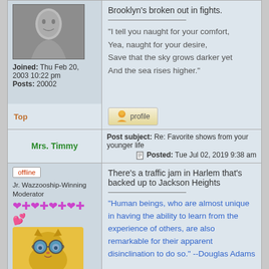[Figure (photo): Black and white photo of a person, appears to be top of a user avatar in forum]
Joined: Thu Feb 20, 2003 10:22 pm
Posts: 20002
Brooklyn's broken out in fights.
"I tell you naught for your comfort,
Yea, naught for your desire,
Save that the sky grows darker yet
And the sea rises higher."
Top
[Figure (screenshot): Profile button with user icon]
Post subject: Re: Favorite shows from your younger life
Posted: Tue Jul 02, 2019 9:38 am
Mrs. Timmy
offline
Jr. Wazzooship-Winning Moderator
[Figure (illustration): Cartoon cat with goggles avatar (minion-style grumpy cat)]
There's a traffic jam in Harlem that's backed up to Jackson Heights
"Human beings, who are almost unique in having the ability to learn from the experience of others, are also remarkable for their apparent disinclination to do so." --Douglas Adams